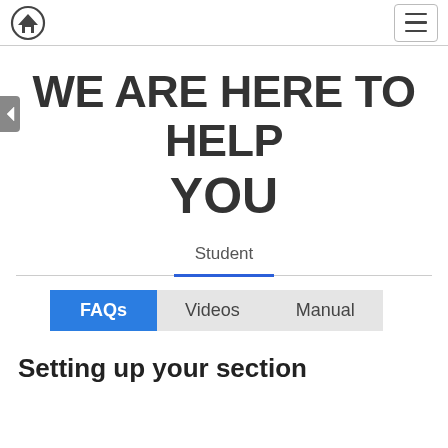Home navigation and menu
WE ARE HERE TO HELP YOU
Student
FAQs | Videos | Manual
Setting up your section